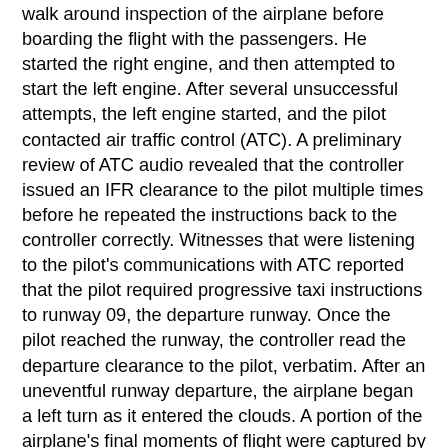walk around inspection of the airplane before boarding the flight with the passengers. He started the right engine, and then attempted to start the left engine. After several unsuccessful attempts, the left engine started, and the pilot contacted air traffic control (ATC). A preliminary review of ATC audio revealed that the controller issued an IFR clearance to the pilot multiple times before he repeated the instructions back to the controller correctly. Witnesses that were listening to the pilot's communications with ATC reported that the pilot required progressive taxi instructions to runway 09, the departure runway. Once the pilot reached the runway, the controller read the departure clearance to the pilot, verbatim. After an uneventful runway departure, the airplane began a left turn as it entered the clouds. A portion of the airplane's final moments of flight were captured by a surveillance video, which showed the airplane descend towards the ground in a slight left wing low attitude. The airplane disappeared behind a residence, which was immediately followed by the presence of fire and smoke.
The airplane came to rest in a residential area approximately 1 nautical mile northeast of RAL. The initial impact point (IIP) was identified by a broken chimney and a section of airframe